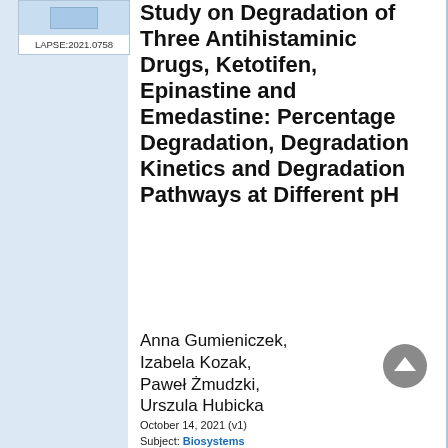[Figure (other): LAPSE preprint identifier box with light blue image area and ID LAPSE:2021.0758]
Study on Degradation of Three Antihistaminic Drugs, Ketotifen, Epinastine and Emedastine: Percentage Degradation, Degradation Kinetics and Degradation Pathways at Different pH
Anna Gumieniczek, Izabela Kozak, Paweł Żmudzki, Urszula Hubicka
October 14, 2021 (v1)
Subject: Biosystems
Keywords: degradation in solutions, epinastine and emedastine, ketotifen, LC-UV and UPLC-MS/MS methods, new degradation products